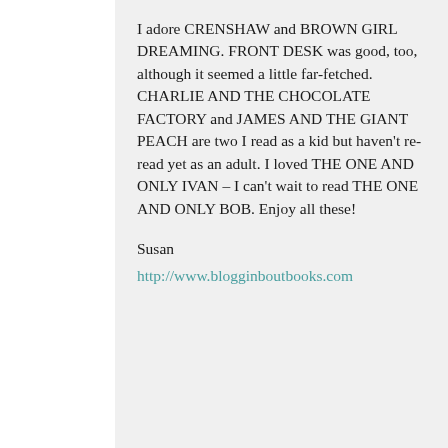I adore CRENSHAW and BROWN GIRL DREAMING. FRONT DESK was good, too, although it seemed a little far-fetched. CHARLIE AND THE CHOCOLATE FACTORY and JAMES AND THE GIANT PEACH are two I read as a kid but haven't re-read yet as an adult. I loved THE ONE AND ONLY IVAN – I can't wait to read THE ONE AND ONLY BOB. Enjoy all these!
Susan
http://www.blogginboutbooks.com